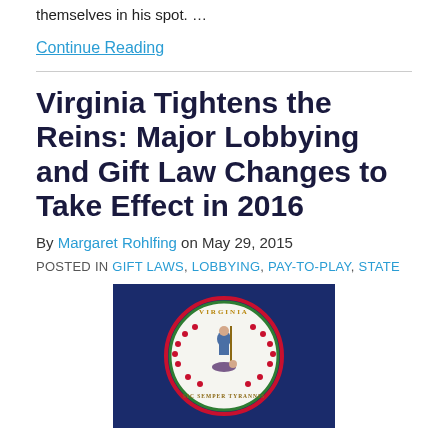themselves in his spot. …
Continue Reading
Virginia Tightens the Reins: Major Lobbying and Gift Law Changes to Take Effect in 2016
By Margaret Rohlfing on May 29, 2015
POSTED IN GIFT LAWS, LOBBYING, PAY-TO-PLAY, STATE
[Figure (photo): Virginia state flag showing the state seal (a figure in blue robes standing over a defeated figure, encircled by a red and green wreath with 'VIRGINIA' text and 'SIC SEMPER TYRANNIS' motto) on a dark blue background.]